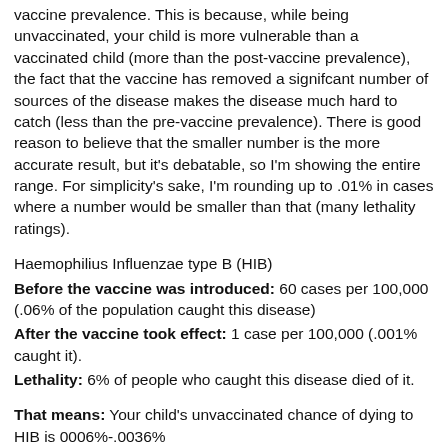vaccine prevalence. This is because, while being unvaccinated, your child is more vulnerable than a vaccinated child (more than the post-vaccine prevalence), the fact that the vaccine has removed a signifcant number of sources of the disease makes the disease much hard to catch (less than the pre-vaccine prevalence). There is good reason to believe that the smaller number is the more accurate result, but it's debatable, so I'm showing the entire range. For simplicity's sake, I'm rounding up to .01% in cases where a number would be smaller than that (many lethality ratings).
Haemophilius Influenzae type B (HIB)
Before the vaccine was introduced: 60 cases per 100,000 (.06% of the population caught this disease)
After the vaccine took effect: 1 case per 100,000 (.001% caught it).
Lethality: 6% of people who caught this disease died of it.
That means: Your child's unvaccinated chance of dying to HIB is 0006%-.0036%
Pneumococcus